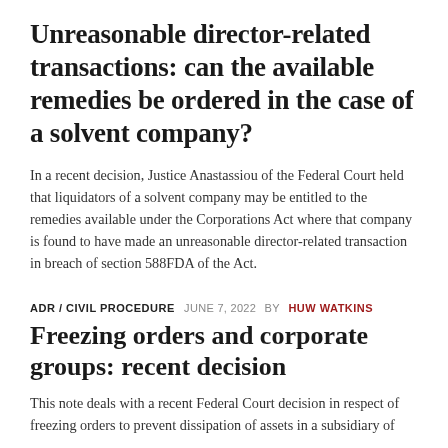Unreasonable director-related transactions: can the available remedies be ordered in the case of a solvent company?
In a recent decision, Justice Anastassiou of the Federal Court held that liquidators of a solvent company may be entitled to the remedies available under the Corporations Act where that company is found to have made an unreasonable director-related transaction in breach of section 588FDA of the Act.
ADR / CIVIL PROCEDURE  JUNE 7, 2022  BY  HUW WATKINS
Freezing orders and corporate groups: recent decision
This note deals with a recent Federal Court decision in respect of freezing orders to prevent dissipation of assets in a subsidiary of